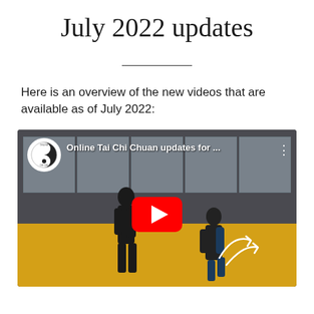July 2022 updates
Here is an overview of the new videos that are available as of July 2022:
[Figure (screenshot): YouTube video thumbnail showing two people practicing Tai Chi Chuan in a gym with yellow floor. Video title reads 'Online Tai Chi Chuan updates for ...' with a YouTube play button overlay and a yin-yang logo in the top-left corner.]